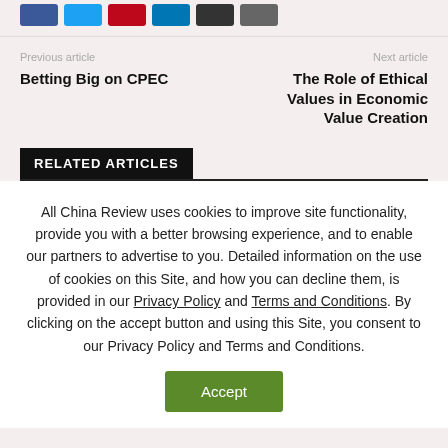[Figure (other): Row of social media share buttons: Facebook (blue), Twitter (light blue), Pinterest (red), LinkedIn (dark blue), Email (black), Print (gray)]
Previous article
Next article
Betting Big on CPEC
The Role of Ethical Values in Economic Value Creation
RELATED ARTICLES
All China Review uses cookies to improve site functionality, provide you with a better browsing experience, and to enable our partners to advertise to you. Detailed information on the use of cookies on this Site, and how you can decline them, is provided in our Privacy Policy and Terms and Conditions. By clicking on the accept button and using this Site, you consent to our Privacy Policy and Terms and Conditions.